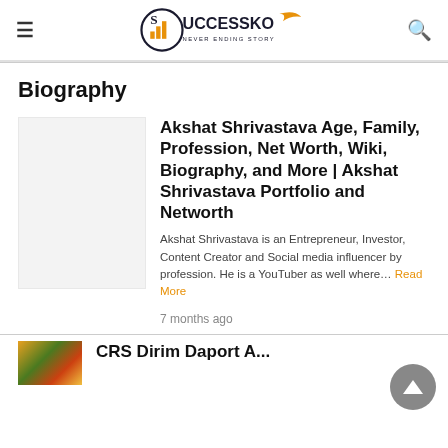Successko - Never Ending Story
Biography
Akshat Shrivastava Age, Family, Profession, Net Worth, Wiki, Biography, and More | Akshat Shrivastava Portfolio and Networth
Akshat Shrivastava is an Entrepreneur, Investor, Content Creator and Social media influencer by profession. He is a YouTuber as well where… Read More
7 months ago
CRS Dirim Daport A...